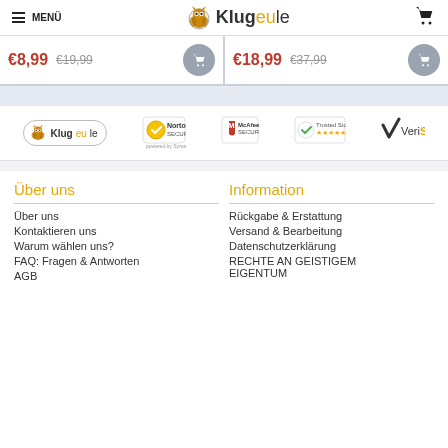MENÜ | Klugeule | (cart icon)
€8,99  €19,99  (cart)  |  €18,99  €37,99  (cart)
[Figure (logo): Trust badge logos: Klugeule, Norton Secured, McAfee Secure, Trusted Store, VeriSign]
Über uns
Information
Über uns
Kontaktieren uns
Warum wählen uns?
FAQ: Fragen & Antworten
AGB
Rückgabe & Erstattung
Versand & Bearbeitung
Datenschutzerklärung
RECHTE AN GEISTIGEM EIGENTUM